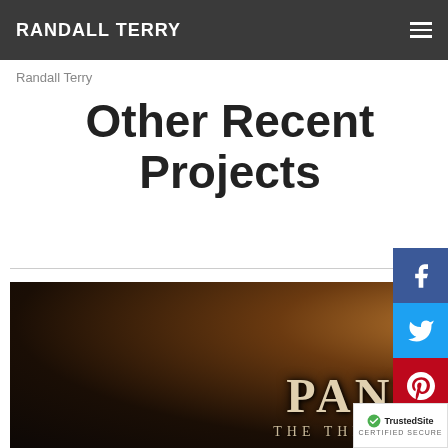RANDALL TERRY
Randall Terry
Other Recent Projects
[Figure (photo): Dark atmospheric image with glowing amber light at top, showing text 'PANDEMIC' in large serif letters and subtitle 'THE THRESHING OF AMERICA' below in spaced caps.]
[Figure (logo): TrustedSite Certified Secure badge in bottom right corner.]